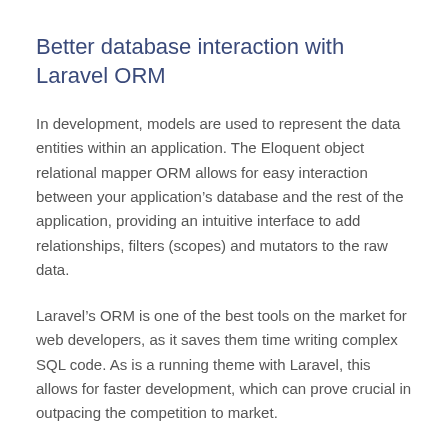Better database interaction with Laravel ORM
In development, models are used to represent the data entities within an application. The Eloquent object relational mapper ORM allows for easy interaction between your application’s database and the rest of the application, providing an intuitive interface to add relationships, filters (scopes) and mutators to the raw data.
Laravel’s ORM is one of the best tools on the market for web developers, as it saves them time writing complex SQL code. As is a running theme with Laravel, this allows for faster development, which can prove crucial in outpacing the competition to market.